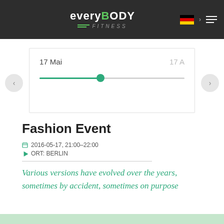[Figure (logo): everyBODY FITNESS logo with green accent letter y and green double lines, white text on dark background]
[Figure (infographic): Timeline slider showing '17 Mai' as active date with green dot and filled track, and partially visible '17 A' date on right. Left and right navigation arrows.]
Fashion Event
2016-05-17, 21:00–22:00
ORT: BERLIN
Various versions have evolved over the years, sometimes by accident, sometimes on purpose